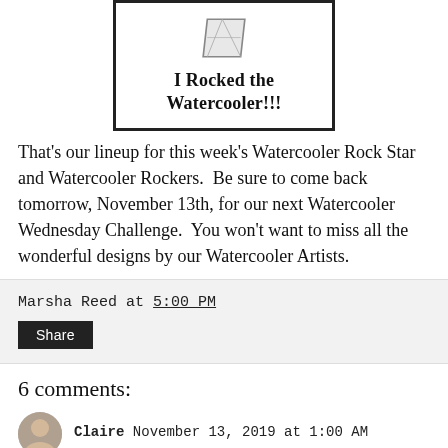[Figure (illustration): Badge with diamond/parallelogram icon at top and text 'I Rocked the Watercooler!!!' in bold, inside a black border rectangle.]
That's our lineup for this week's Watercooler Rock Star and Watercooler Rockers.  Be sure to come back tomorrow, November 13th, for our next Watercooler Wednesday Challenge.  You won't want to miss all the wonderful designs by our Watercooler Artists.
Marsha Reed at 5:00 PM
Share
6 comments:
Claire November 13, 2019 at 1:00 AM